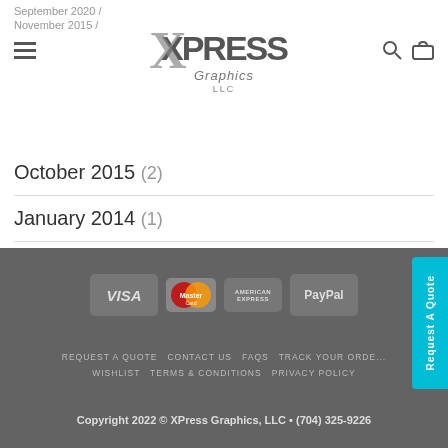September 2020 / November 2015 — XPress Graphics LLC logo header with hamburger menu, search and cart icons
October 2015 (2)
January 2014 (1)
December 2013 (2)
August 2013 (2)
VISA | MasterCard | American Express | PayPal | REQUEST A QUOTE | CONTACT US | FAQS | TRACK YOUR ORDER | WISHLIST | TERMS & CONDITIONS | PRIVACY POLICY | Copyright 2022 © XPress Graphics, LLC • (704) 325-9226